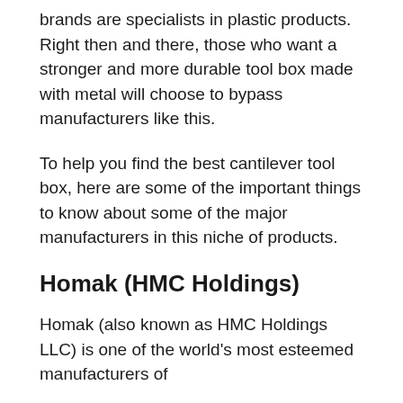brands are specialists in plastic products. Right then and there, those who want a stronger and more durable tool box made with metal will choose to bypass manufacturers like this.
To help you find the best cantilever tool box, here are some of the important things to know about some of the major manufacturers in this niche of products.
Homak (HMC Holdings)
Homak (also known as HMC Holdings LLC) is one of the world’s most esteemed manufacturers of